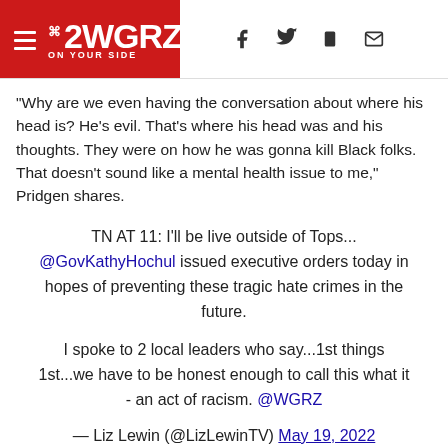2WGRZ ON YOUR SIDE
"Why are we even having the conversation about where his head is? He's evil. That's where his head was and his thoughts. They were on how he was gonna kill Black folks. That doesn't sound like a mental health issue to me," Pridgen shares.
TN AT 11: I'll be live outside of Tops... @GovKathyHochul issued executive orders today in hopes of preventing these tragic hate crimes in the future.
I spoke to 2 local leaders who say...1st things 1st...we have to be honest enough to call this what it - an act of racism. @WGRZ
— Liz Lewin (@LizLewinTV) May 19, 2022